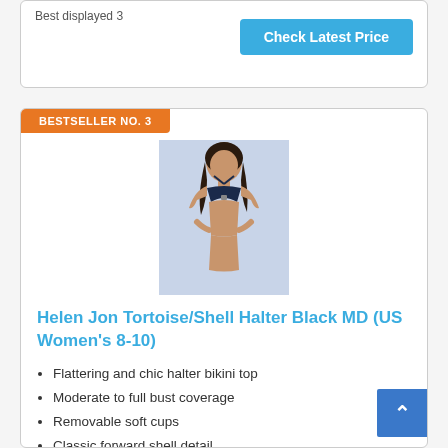Best displayed 3
Check Latest Price
BESTSELLER NO. 3
[Figure (photo): Woman modeling a navy/black halter bikini top]
Helen Jon Tortoise/Shell Halter Black MD (US Women's 8-10)
Flattering and chic halter bikini top
Moderate to full bust coverage
Removable soft cups
Classic forward shell detail